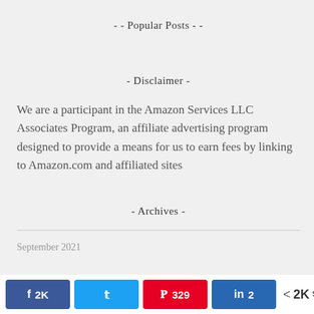- - Popular Posts - -
- Disclaimer -
We are a participant in the Amazon Services LLC Associates Program, an affiliate advertising program designed to provide a means for us to earn fees by linking to Amazon.com and affiliated sites
- Archives -
September 2021
Facebook 2K | Twitter | Pinterest 329 | LinkedIn 2 | 2K SHARES